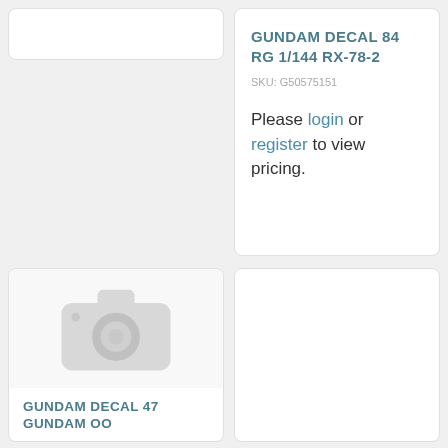[Figure (photo): Partial top of a product card, cropped — white card with rounded corners, no visible content]
GUNDAM DECAL 84 RG 1/144 RX-78-2
SKU: G50575151
Please login or register to view pricing.
[Figure (photo): Placeholder product image with grey camera icon on white/light grey background]
GUNDAM DECAL 47 GUNDAM OO